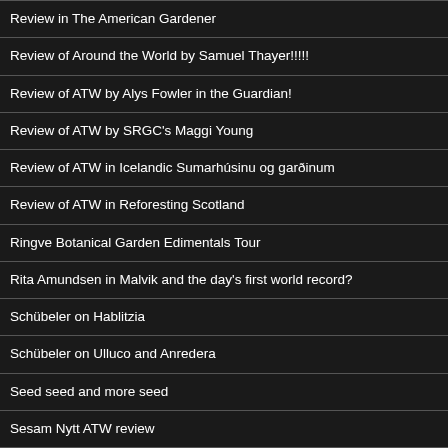Review in The American Gardener
Review of Around the World by Samuel Thayer!!!!!
Review of ATW by Alys Fowler in the Guardian!
Review of ATW by SRGC's Maggi Young
Review of ATW in Icelandic Sumarhúsinu og garðinum
Review of ATW in Reforesting Scotland
Ringve Botanical Garden Edimentals Tour
Rita Amundsen in Malvik and the day's first world record?
Schübeler on Hablitzia
Schübeler on Ulluco and Anredera
Seed seed and more seed
Sesam Nytt ATW review